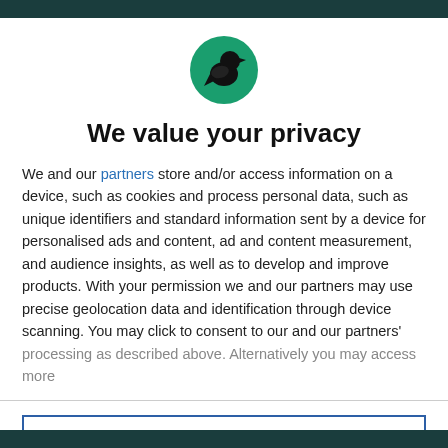[Figure (logo): Circular green logo with black silhouette of a bird/crow figure]
We value your privacy
We and our partners store and/or access information on a device, such as cookies and process personal data, such as unique identifiers and standard information sent by a device for personalised ads and content, ad and content measurement, and audience insights, as well as to develop and improve products. With your permission we and our partners may use precise geolocation data and identification through device scanning. You may click to consent to our and our partners' processing as described above. Alternatively you may access more
AGREE
MORE OPTIONS